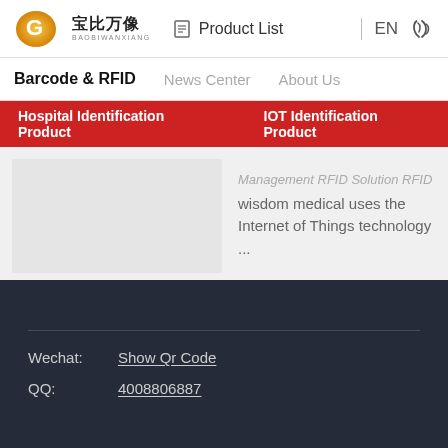[Figure (logo): Baobiwanxiang logo — golden circular emblem with stylized G/B, Chinese text '宝比万像', and 'BAOBIWANXIANG' below]
Product List  |  EN  [phone icon]
Barcode & RFID   News Center   About Us
Hospital Identification Product   IOT Identification Product
Management RFID Solution RFID wisdom medical uses the Internet of Things technology ...
Wechat:  Show Qr Code
QQ:  4008806887